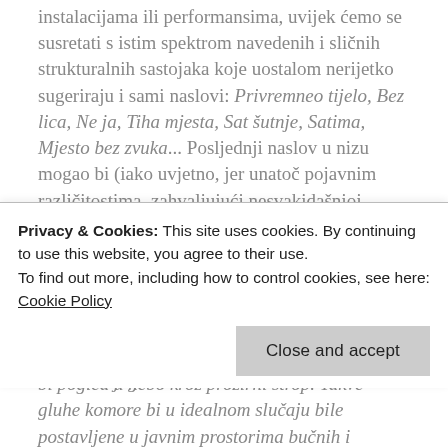instalacijama ili performansima, uvijek ćemo se susretati s istim spektrom navedenih i sličnih strukturalnih sastojaka koje uostalom nerijetko sugeriraju i sami naslovi: Privremneo tijelo, Bez lica, Ne ja, Tiha mjesta, Sat šutnje, Satima, Mjesto bez zvuka... Posljednji naslov u nizu mogao bi (iako uvjetno, jer unatoč pojavnim različitostima, zahvaljujući nesvakidašnjoj autoričinoj dosljednosti gotovo svaki njezin rad fungira pars pro toto), poslužiti i kao paradigma njezina opusa. Riječima same autorice: 'Mjesto bez zvuka' je gluha komora za jednu osobu koja bi služila fizičkoj i gotovo potpunoj zvučnoj izolaciji. Jedini kontakt s vanjskim svijetom bio bi pogled u nebo kroz prozirni strop. Takve gluhe komore bi u idealnom slučaju bile postavljene u javnim prostorima bučnih i prenapučenih
Privacy & Cookies: This site uses cookies. By continuing to use this website, you agree to their use. To find out more, including how to control cookies, see here: Cookie Policy
vreve, no za neke ljude istovremeno i mjesto intenzivnijeg